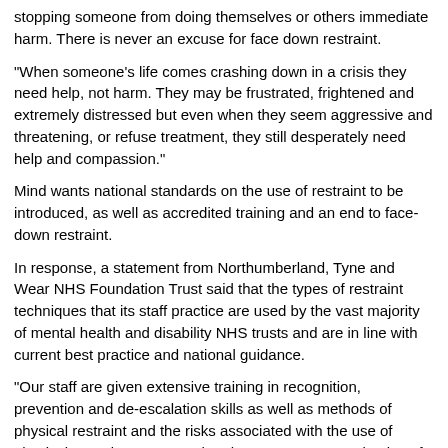stopping someone from doing themselves or others immediate harm. There is never an excuse for face down restraint.
“When someone’s life comes crashing down in a crisis they need help, not harm. They may be frustrated, frightened and extremely distressed but even when they seem aggressive and threatening, or refuse treatment, they still desperately need help and compassion.”
Mind wants national standards on the use of restraint to be introduced, as well as accredited training and an end to face-down restraint.
In response, a statement from Northumberland, Tyne and Wear NHS Foundation Trust said that the types of restraint techniques that its staff practice are used by the vast majority of mental health and disability NHS trusts and are in line with current best practice and national guidance.
“Our staff are given extensive training in recognition, prevention and de-escalation skills as well as methods of physical restraint and the risks associated with the use of physical restraint to ensure that they can manage episodes of violence and aggression in a safe, supportive, dignified and professional manner in line with national guidance and the best available evidence.
“Due to the specialist nature of a number of our services such as our forensic services, the trust cares for some of the most complex and